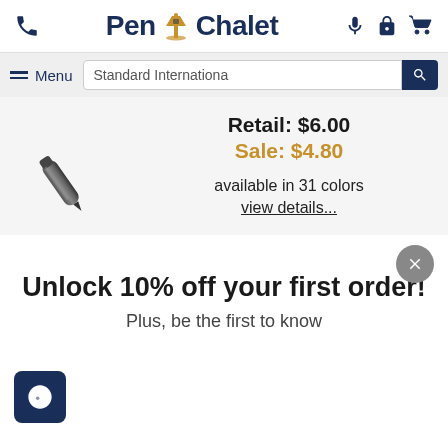Pen Chalet
Menu   Standard Internationa [search]
Retail: $6.00
Sale: $4.80
available in 31 colors
view details...
Unlock 10% off your first order!
Plus, be the first to know